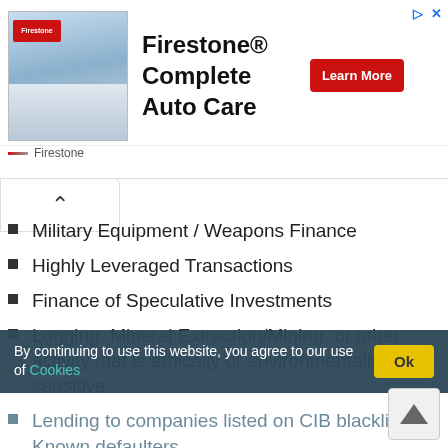[Figure (other): Firestone Complete Auto Care advertisement banner with store image, bold headline text, and red Learn More button]
Military Equipment / Weapons Finance
Highly Leveraged Transactions
Finance of Speculative Investments
Logging, Mineral Extraction/Mining, or other activity that is ethically or environmentally sensitive
Lending to companies listed on CIB blacklist or Known defaulters
Talking an Equity Stake in Borrowers
Lending to Holding Companies
Bridge Loans relying on equity/ debt issuance